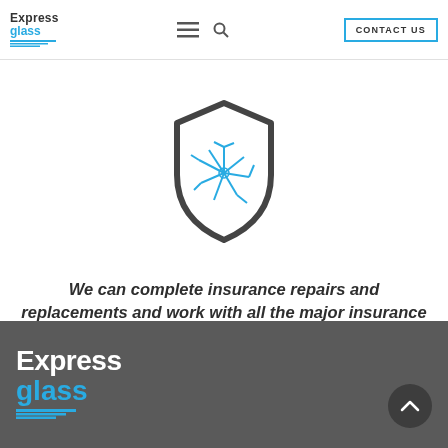Express Glass | CONTACT US
[Figure (illustration): Shield icon with cracked glass / broken windshield pattern inside, dark gray outline with blue crack lines]
We can complete insurance repairs and replacements and work with all the major insurance companies.
Express Glass logo in footer on dark gray background